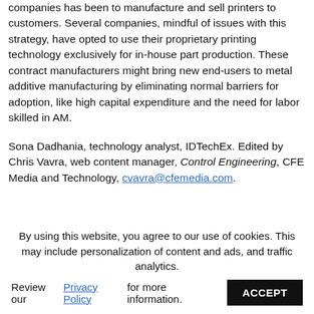companies has been to manufacture and sell printers to customers. Several companies, mindful of issues with this strategy, have opted to use their proprietary printing technology exclusively for in-house part production. These contract manufacturers might bring new end-users to metal additive manufacturing by eliminating normal barriers for adoption, like high capital expenditure and the need for labor skilled in AM.
Sona Dadhania, technology analyst, IDTechEx. Edited by Chris Vavra, web content manager, Control Engineering, CFE Media and Technology, cvavra@cfemedia.com.
By using this website, you agree to our use of cookies. This may include personalization of content and ads, and traffic analytics. Review our Privacy Policy for more information. ACCEPT